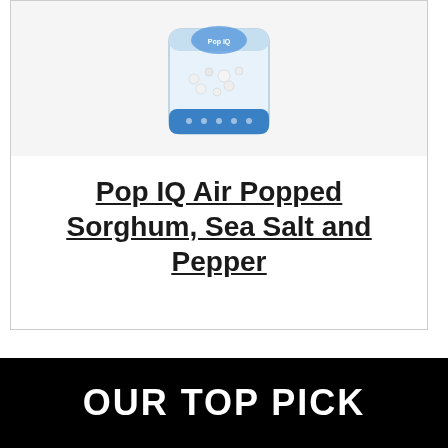[Figure (photo): Product image of Pop IQ Air Popped Sorghum Sea Salt and Pepper bag in a white/light blue package]
Pop IQ Air Popped Sorghum, Sea Salt and Pepper
OUR TOP PICK